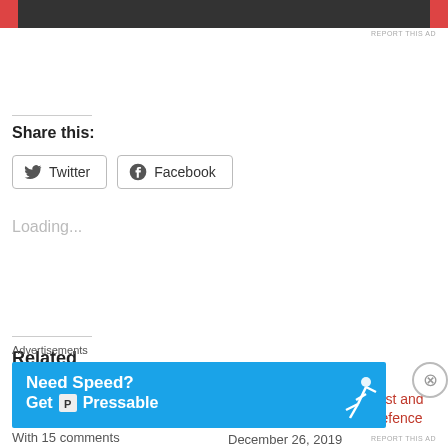[Figure (other): Top orange and dark banner advertisement strip]
Share this:
Twitter  Facebook
Loading...
Related
Welcome to UK Land Power
June 30, 2017
With 15 comments
2020 Vision: The Year Past and the Year Ahead for UK Defence
December 26, 2019
With 33 comments
Advertisements
[Figure (other): Advertisement banner: Need Speed? Get Pressable — blue background with running figure]